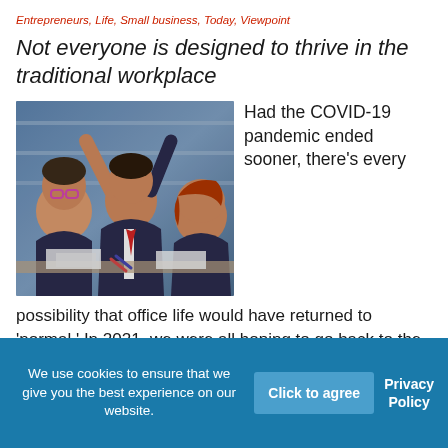Entrepreneurs, Life, Small business, Today, Viewpoint
Not everyone is designed to thrive in the traditional workplace
[Figure (photo): Office workers appearing stressed and exhausted at their desks, one person with arms stretched upward, others slumped over]
Had the COVID-19 pandemic ended sooner, there's every possibility that office life would have returned to 'normal.' In 2021, we were all hoping to go back to the office. Today, office workers are putting their foot down en masse and refusing to return. Having adapted to remote work and proving themselves
We use cookies to ensure that we give you the best experience on our website.
Click to agree
Privacy Policy